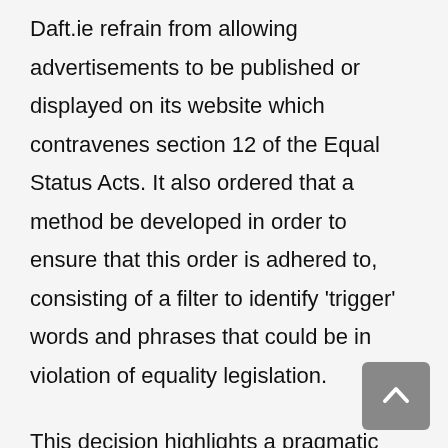Daft.ie refrain from allowing advertisements to be published or displayed on its website which contravenes section 12 of the Equal Status Acts. It also ordered that a method be developed in order to ensure that this order is adhered to, consisting of a filter to identify 'trigger' words and phrases that could be in violation of equality legislation.
This decision highlights a pragmatic and proactive approach by the WRC to tackling systemic discrimination in the provision of accommodation. It sets a precedent that